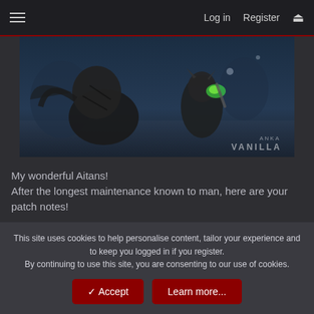Log in  Register
[Figure (screenshot): Game screenshot showing two armored fantasy characters battling in a dark icy environment. Watermark reads ANKA VANILLA in bottom right.]
My wonderful Aitans!
After the longest maintenance known to man, here are your patch notes!
*ENRICHED SALE NOW ON*
THE FROZEN TAKEOVER
This site uses cookies to help personalise content, tailor your experience and to keep you logged in if you register.
By continuing to use this site, you are consenting to our use of cookies.